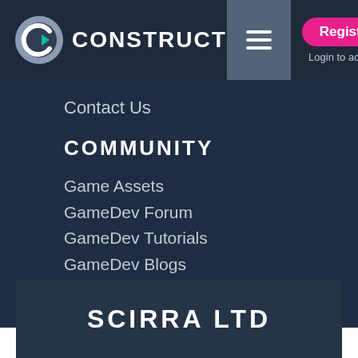CONSTRUCT — Register Login to account
Contact Us
COMMUNITY
Game Assets
GameDev Forum
GameDev Tutorials
GameDev Blogs
Free Online Arcade
Community Guidelines
SCIRRA LTD